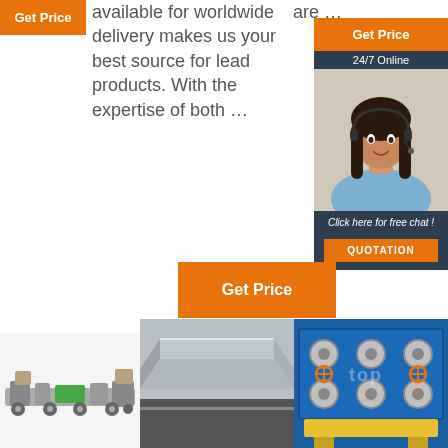[Figure (other): Orange 'Get Price' button top left]
available for worldwide delivery makes us your best source for lead products. With the expertise of both ...
are ...
[Figure (infographic): Sidebar with Get Price button, 24/7 Online label, customer service representative photo, Click here for free chat! text, and QUOTATION button]
[Figure (other): Orange 'Get Price' button middle]
[Figure (photo): Industrial machine production line - elongated machinery]
[Figure (photo): Metal channel or rail product on road/tarmac background]
[Figure (photo): Blue and yellow industrial roll forming machine]